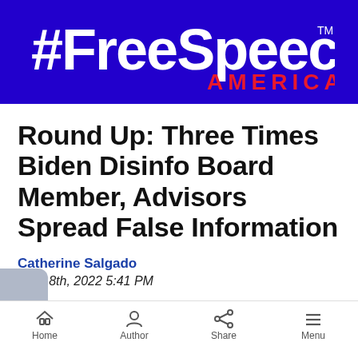[Figure (logo): #FreeSpeech AMERICA logo — white bold hashtag and FreeSpeech text on blue background, with red AMERICA text and TM superscript]
Round Up: Three Times Biden Disinfo Board Member, Advisors Spread False Information
Catherine Salgado
June 8th, 2022 5:41 PM
Home  Author  Share  Menu